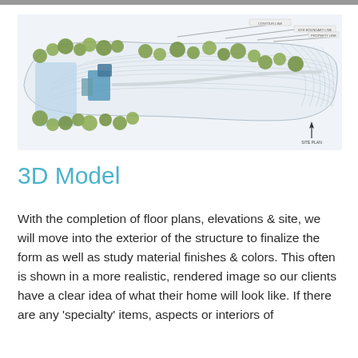[Figure (schematic): Architectural site plan / top-down view showing a building footprint with blue elements surrounded by trees (green circles) on a topographic land parcel with contour lines and annotation lines.]
3D Model
With the completion of floor plans, elevations & site, we will move into the exterior of the structure to finalize the form as well as study material finishes & colors. This often is shown in a more realistic, rendered image so our clients have a clear idea of what their home will look like. If there are any 'specialty' items, aspects or interiors of